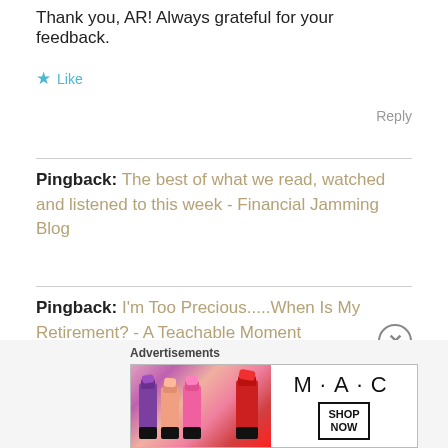Thank you, AR! Always grateful for your feedback.
Like
Reply
Pingback: The best of what we read, watched and listened to this week - Financial Jamming Blog
Pingback: I'm Too Precious.....When Is My Retirement? - A Teachable Moment
[Figure (screenshot): MAC Cosmetics advertisement banner showing lipsticks and MAC logo with SHOP NOW button]